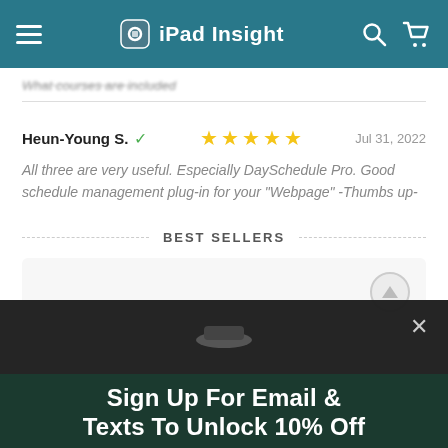iPad Insight
What courses are included
Heun-Young S. ✓  ★★★★★  Jul 31, 2022
All three are very useful. Especially DaySchedule Pro. Good schedule management plug-in for your "Webpage" -Thumbs up-
BEST SELLERS
[Figure (screenshot): Partially visible product card with a circular icon on the right]
Sign Up For Email & Texts To Unlock 10% Off